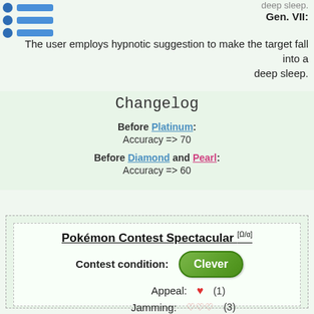deep sleep.
bullet row 1
bullet row 2
bullet row 3
Gen. VII: The user employs hypnotic suggestion to make the target fall into a deep sleep.
Changelog
Before Platinum: Accuracy => 70
Before Diamond and Pearl: Accuracy => 60
Pokémon Contest Spectacular [Ω/α]
Contest condition: Clever
Appeal: ♥ (1)
Jamming: ♡♡♡ (3)